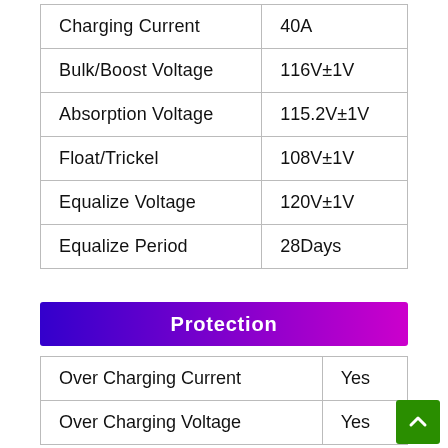| Parameter | Value |
| --- | --- |
| Charging Current | 40A |
| Bulk/Boost Voltage | 116V±1V |
| Absorption Voltage | 115.2V±1V |
| Float/Trickel | 108V±1V |
| Equalize Voltage | 120V±1V |
| Equalize Period | 28Days |
Protection
| Parameter | Value |
| --- | --- |
| Over Charging Current | Yes |
| Over Charging Voltage | Yes |